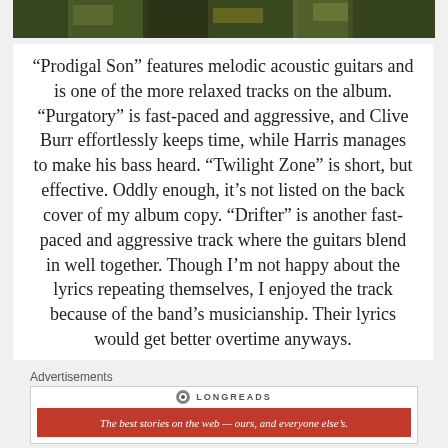[Figure (photo): A dark green and yellow band/album photo cropped at the top of the page]
“Prodigal Son” features melodic acoustic guitars and is one of the more relaxed tracks on the album. “Purgatory” is fast-paced and aggressive, and Clive Burr effortlessly keeps time, while Harris manages to make his bass heard. “Twilight Zone” is short, but effective. Oddly enough, it’s not listed on the back cover of my album copy. “Drifter” is another fast-paced and aggressive track where the guitars blend in well together. Though I’m not happy about the lyrics repeating themselves, I enjoyed the track because of the band’s musicianship. Their lyrics would get better overtime anyways.
Advertisements
[Figure (logo): Longreads advertisement banner: red box with white border reading 'The best stories on the web — ours, and everyone else’s.']